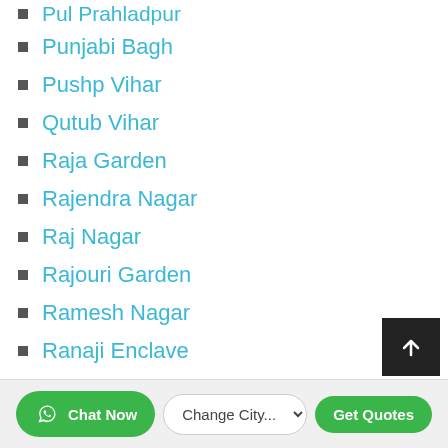Pul Prahladpur
Punjabi Bagh
Pushp Vihar
Qutub Vihar
Raja Garden
Rajendra Nagar
Raj Nagar
Rajouri Garden
Ramesh Nagar
Ranaji Enclave
Rangpuri
Ranhola
Rani Bagh